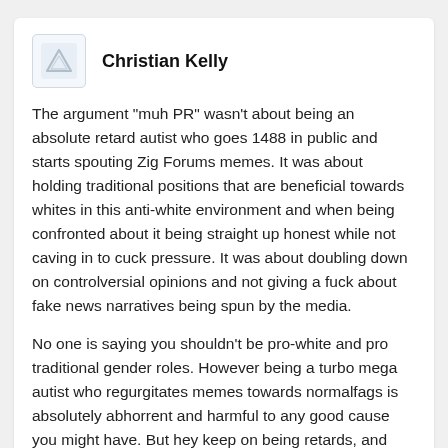[Figure (other): User avatar placeholder icon showing a triangle/person symbol on light blue background]
Christian Kelly
The argument "muh PR" wasn't about being an absolute retard autist who goes 1488 in public and starts spouting Zig Forums memes. It was about holding traditional positions that are beneficial towards whites in this anti-white environment and when being confronted about it being straight up honest while not caving in to cuck pressure. It was about doubling down on controlversial opinions and not giving a fuck about fake news narratives being spun by the media.
No one is saying you shouldn't be pro-white and pro traditional gender roles. However being a turbo mega autist who regurgitates memes towards normalfags is absolutely abhorrent and harmful to any good cause you might have. But hey keep on being retards, and while we're at it let's keep including cringy shit such as "anime right news", as well as those crappy Murdoch Murdoch cartoons done in flash using the tween tool.